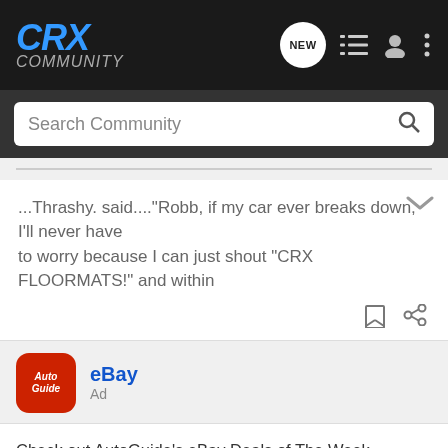CRX Community
Search Community
...Thrashy. said...."Robb, if my car ever breaks down, I'll never have to worry because I can just shout "CRX FLOORMATS!" and within
eBay
Ad
Check out AutoGuide's eBay Deals of The Week - Updated every week. This week's addition: 42% OFF! an Android vehicle monitor with dash cam and OBD2 scanner. And yes, it's CarPlay compatible.
[Figure (photo): Dark blue/black car interior photo strip at the bottom]